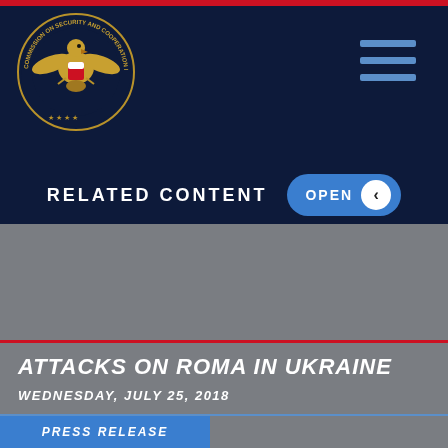[Figure (logo): Commission on Security and Cooperation in Europe seal - gold eagle emblem on dark navy circular badge]
RELATED CONTENT
ATTACKS ON ROMA IN UKRAINE
WEDNESDAY, JULY 25, 2018
PRESS RELEASE